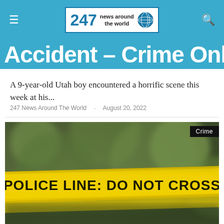247 News Around The World
Accident – Crime Online
A 9-year-old Utah boy encountered a horrific scene this week at his...
247 News Around The World · August 20, 2022
[Figure (photo): Yellow police line tape reading 'POLICE LINE: DO NOT CROSS' with a green blurred background and a 'Crime' label badge in the top right corner]